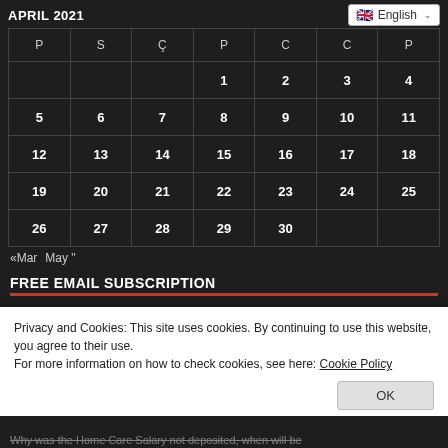APRIL 2021
| P | S | Ç | P | C | C | P |
| --- | --- | --- | --- | --- | --- | --- |
|  |  |  | 1 | 2 | 3 | 4 |
| 5 | 6 | 7 | 8 | 9 | 10 | 11 |
| 12 | 13 | 14 | 15 | 16 | 17 | 18 |
| 19 | 20 | 21 | 22 | 23 | 24 | 25 |
| 26 | 27 | 28 | 29 | 30 |  |  |
«Mar   May "
FREE EMAIL SUBSCRIPTION
Privacy and Cookies: This site uses cookies. By continuing to use this website, you agree to their use.
For more information on how to check cookies, see here: Cookie Policy
OK
Why was the Home Care Salary not deposited, when will be deposited?